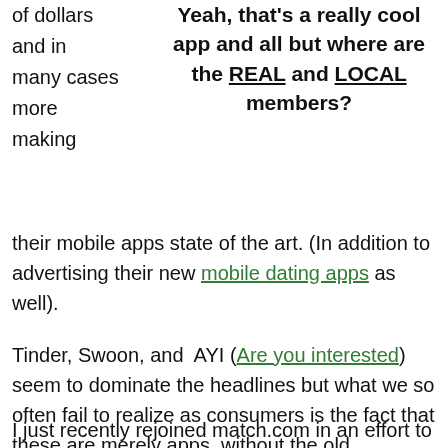of dollars and in many cases more making
Yeah, that's a really cool app and all but where are the REAL and LOCAL members?
their mobile apps state of the art. (In addition to advertising their new mobile dating apps as well).
Tinder, Swoon, and AYI (Are you interested) seem to dominate the headlines but what we so often fail to realize as consumers is the fact that these are merely apps, without the old conventional reputation and massive database of users; and everything that comes along with that!
I just recently rejoined match.com in an effort to